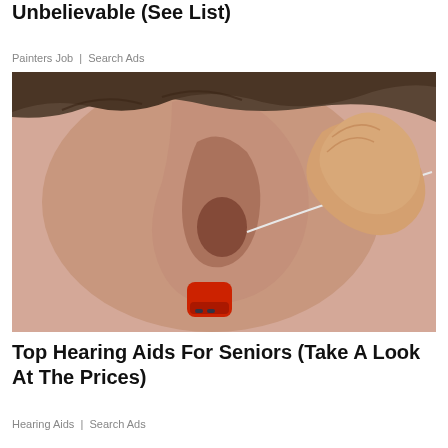Unbelievable (See List)
Painters Job | Search Ads
[Figure (photo): Close-up photo of a person inserting a red hearing aid into their ear, with fingers holding the device near the ear canal.]
Top Hearing Aids For Seniors (Take A Look At The Prices)
Hearing Aids | Search Ads